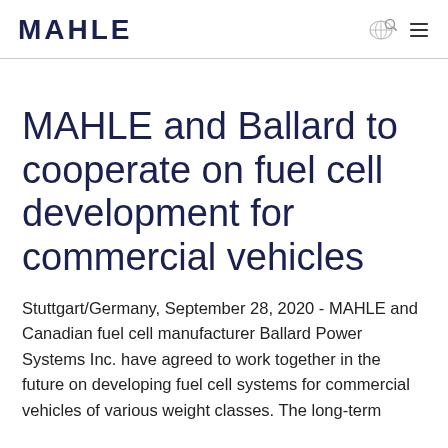MAHLE
MAHLE and Ballard to cooperate on fuel cell development for commercial vehicles
Stuttgart/Germany, September 28, 2020 - MAHLE and Canadian fuel cell manufacturer Ballard Power Systems Inc. have agreed to work together in the future on developing fuel cell systems for commercial vehicles of various weight classes. The long-term